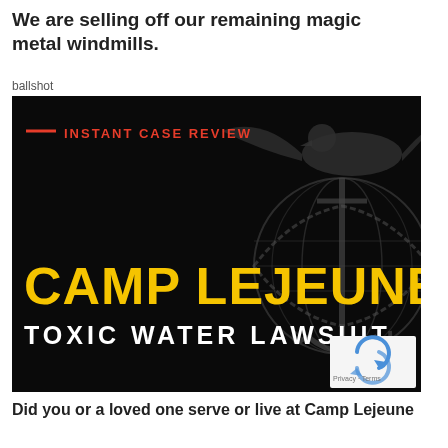We are selling off our remaining magic metal windmills.
ballshot
[Figure (photo): Camp Lejeune Toxic Water Lawsuit advertisement image. Black background with a Marine Corps eagle, globe, and anchor emblem on the right. Red dash and 'INSTANT CASE REVIEW' text in red at top left. Large yellow bold 'CAMP LEJEUNE' text and white 'TOXIC WATER LAWSUIT' text below it. reCAPTCHA logo with Privacy - Terms in bottom right corner.]
Did you or a loved one serve or live at Camp Lejeune